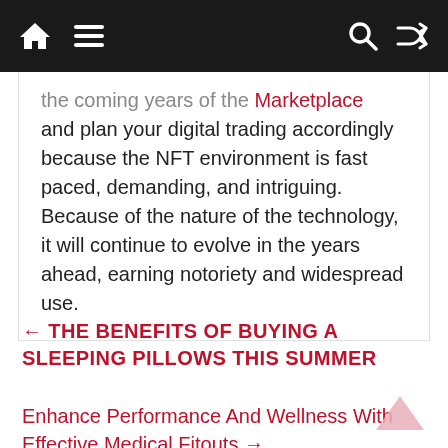Navigation bar with home icon, menu icon, search icon, shuffle icon
the coming years of the [colored] Marketplace and plan your digital trading accordingly because the NFT environment is fast paced, demanding, and intriguing. Because of the nature of the technology, it will continue to evolve in the years ahead, earning notoriety and widespread use.
← THE BENEFITS OF BUYING A SLEEPING PILLOWS THIS SUMMER
Enhance Performance And Wellness With Effective Medical Fitouts →